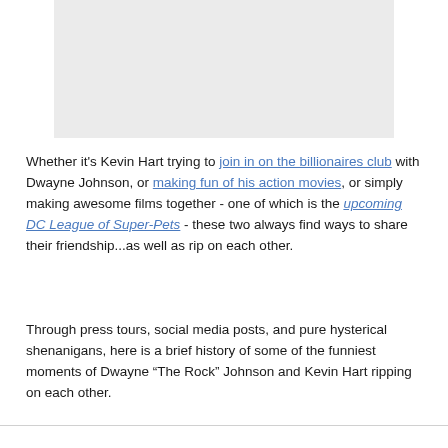[Figure (photo): Gray placeholder image block at top of page]
Whether it's Kevin Hart trying to join in on the billionaires club with Dwayne Johnson, or making fun of his action movies, or simply making awesome films together - one of which is the upcoming DC League of Super-Pets - these two always find ways to share their friendship...as well as rip on each other.
Through press tours, social media posts, and pure hysterical shenanigans, here is a brief history of some of the funniest moments of Dwayne “The Rock” Johnson and Kevin Hart ripping on each other.